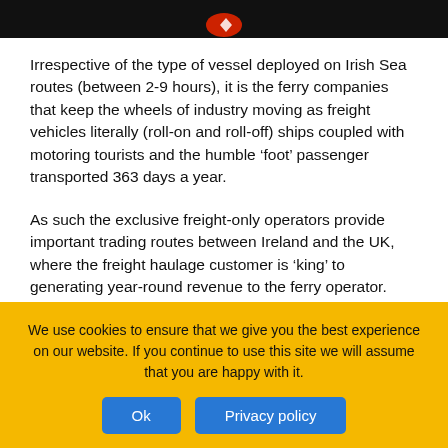Irrespective of the type of vessel deployed on Irish Sea routes (between 2-9 hours), it is the ferry companies that keep the wheels of industry moving as freight vehicles literally (roll-on and roll-off) ships coupled with motoring tourists and the humble ‘foot’ passenger transported 363 days a year.
As such the exclusive freight-only operators provide important trading routes between Ireland and the UK, where the freight haulage customer is ‘king’ to generating year-round revenue to the ferry operator. However, custom built tonnage entering service in recent years has exceeded the level of capacity of
We use cookies to ensure that we give you the best experience on our website. If you continue to use this site we will assume that you are happy with it.